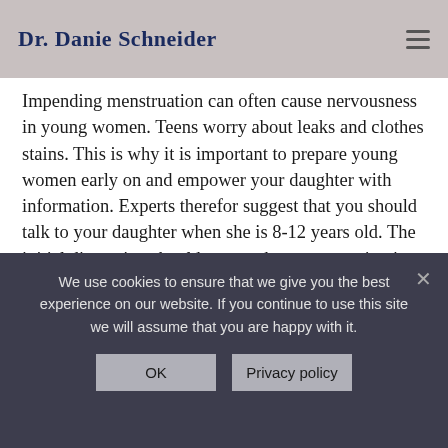Dr. Danie Schneider
Impending menstruation can often cause nervousness in young women. Teens worry about leaks and clothes stains. This is why it is important to prepare young women early on and empower your daughter with information. Experts therefor suggest that you should talk to your daughter when she is 8-12 years old. The initial discussion should cover what menstruation is, what happens to her body, what products to use and how to handle cramps, mood and fatigue.  The message should be “you’re going to be OK “and “we will deal with any issues together”.  No young women should suffer in silence!
We use cookies to ensure that we give you the best experience on our website. If you continue to use this site we will assume that you are happy with it.